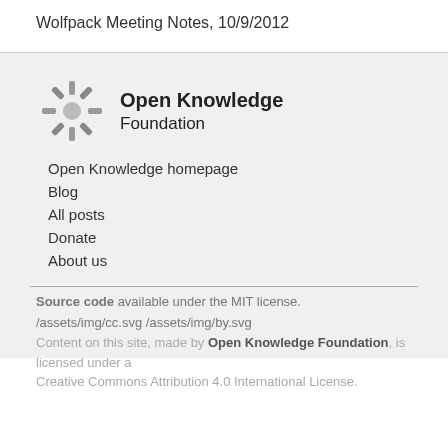Wolfpack Meeting Notes, 10/9/2012
[Figure (logo): Open Knowledge Foundation logo — a snowflake/asterisk shape in grey]
Open Knowledge Foundation
Open Knowledge homepage
Blog
All posts
Donate
About us
Source code available under the MIT license.
/assets/img/cc.svg /assets/img/by.svg
Content on this site, made by Open Knowledge Foundation, is licensed under a Creative Commons Attribution 4.0 International License.